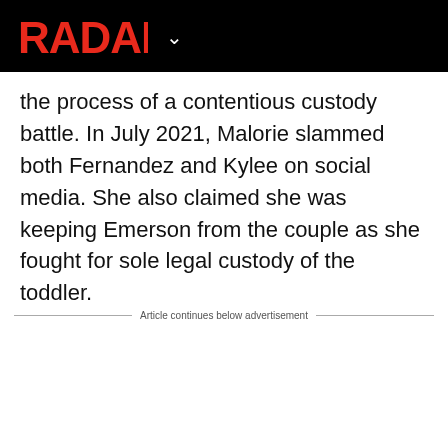RADAR
the process of a contentious custody battle. In July 2021, Malorie slammed both Fernandez and Kylee on social media. She also claimed she was keeping Emerson from the couple as she fought for sole legal custody of the toddler.
Article continues below advertisement